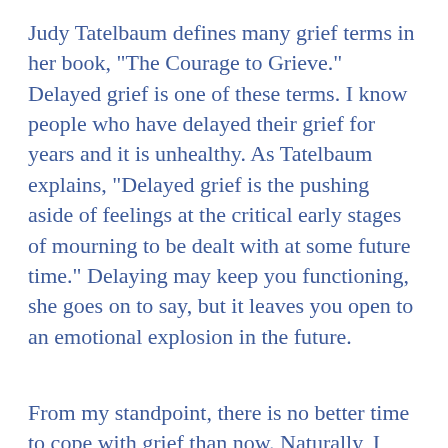Judy Tatelbaum defines many grief terms in her book, "The Courage to Grieve." Delayed grief is one of these terms. I know people who have delayed their grief for years and it is unhealthy. As Tatelbaum explains, "Delayed grief is the pushing aside of feelings at the critical early stages of mourning to be dealt with at some future time." Delaying may keep you functioning, she goes on to say, but it leaves you open to an emotional explosion in the future.
From my standpoint, there is no better time to cope with grief than now. Naturally, I worried about myself when grief triggers, like the first anniversary of death, pushed my recovery backwards. I